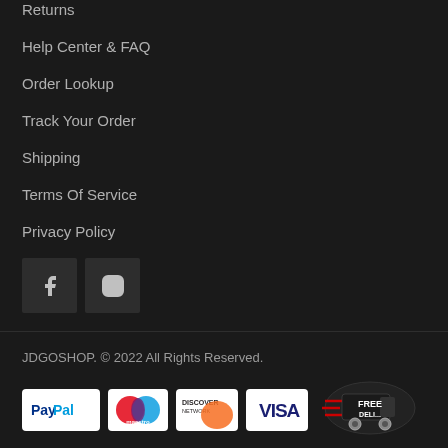Returns
Help Center & FAQ
Order Lookup
Track Your Order
Shipping
Terms Of Service
Privacy Policy
[Figure (logo): Facebook and Instagram social media icons in dark square boxes]
JDGOSHOP. © 2022 All Rights Reserved.
[Figure (logo): Payment method icons: PayPal, Maestro, Discover Network, Visa, and Free Delivery badge]